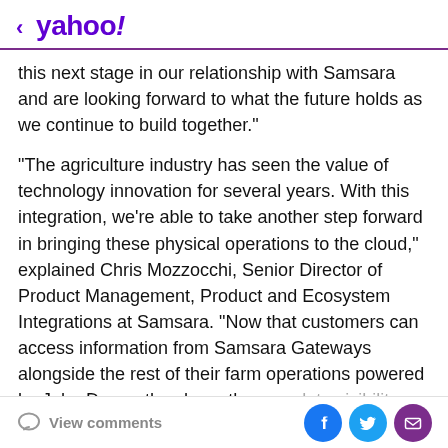< yahoo!
this next stage in our relationship with Samsara and are looking forward to what the future holds as we continue to build together."
"The agriculture industry has seen the value of technology innovation for several years. With this integration, we're able to take another step forward in bringing these physical operations to the cloud," explained Chris Mozzocchi, Senior Director of Product Management, Product and Ecosystem Integrations at Samsara. "Now that customers can access information from Samsara Gateways alongside the rest of their farm operations powered by John Deere, they have the complete visibility they need to keep things running
View comments